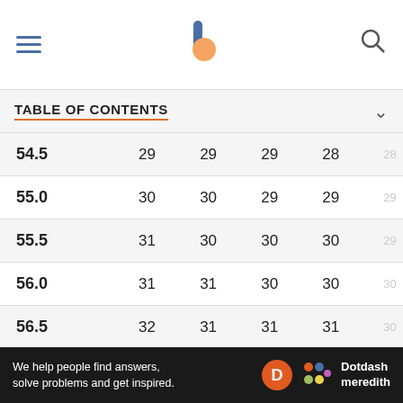TABLE OF CONTENTS
| 54.5 | 29 | 29 | 29 | 28 | 28 |
| 55.0 | 30 | 30 | 29 | 29 | 29 |
| 55.5 | 31 | 30 | 30 | 30 | 29 |
| 56.0 | 31 | 31 | 30 | 30 | 30 |
| 56.5 | 32 | 31 | 31 | 31 | 30 |
| 57.0 | 32 | 32 | 32 | 31 | 31 |
| 57.5 | 33 | 33 | 32 | 32 | 32 |
| 58.0 | 34 | 33 | 33 | 33 | 32 |
We help people find answers, solve problems and get inspired. Dotdash meredith